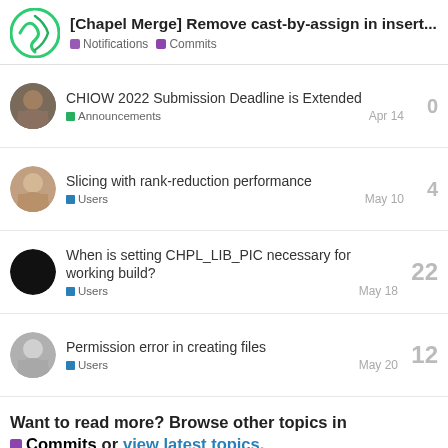[Chapel Merge] Remove cast-by-assign in insert... | Notifications | Commits
CHIOW 2022 Submission Deadline is Extended | Announcements | Apr 14 | 0 replies
Slicing with rank-reduction performance | Users | May 10 | 4 replies
When is setting CHPL_LIB_PIC necessary for working build? | Users | May 18 | 22 replies
Permission error in creating files | Users | May 20 | 12 replies
Want to read more? Browse other topics in Commits or view latest topics.